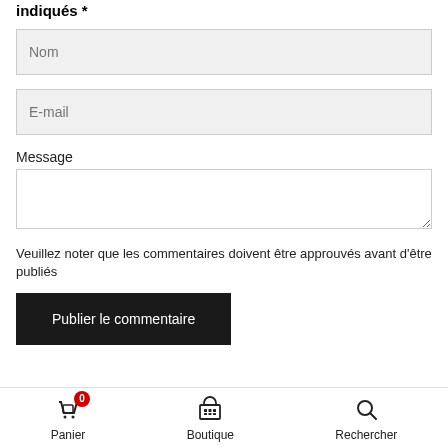indiqués *
Nom
E-mail
Message
Veuillez noter que les commentaires doivent être approuvés avant d'être publiés
Publier le commentaire
Panier  Boutique  Rechercher